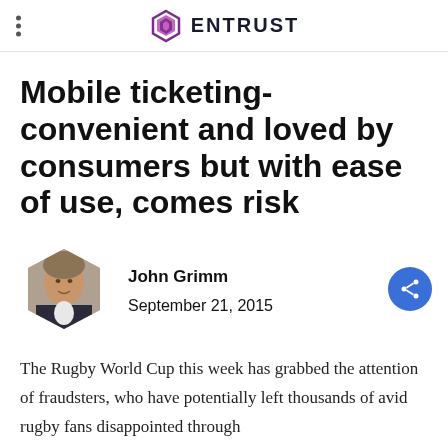ENTRUST
Mobile ticketing- convenient and loved by consumers but with ease of use, comes risk
John Grimm
September 21, 2015
The Rugby World Cup this week has grabbed the attention of fraudsters, who have potentially left thousands of avid rugby fans disappointed through